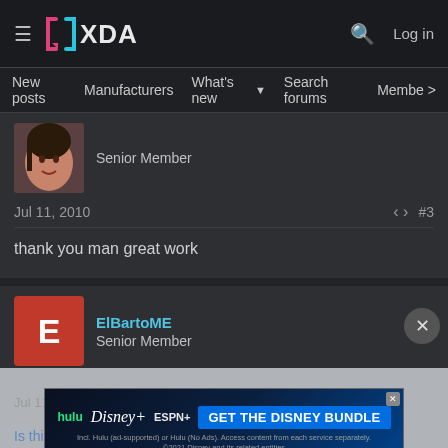XDA — Log in
New posts  Manufacturers  What's new  Search forums  Membe  >
[Figure (photo): Avatar of a female user – senior member]
Senior Member
Jul 11, 2010   #3
thank you man great work
[Figure (photo): Avatar placeholder – red square with letter E]
ElBartoME
Senior Member
[Figure (infographic): Disney Bundle advertisement banner: hulu + Disney+ + ESPN+ – GET THE DISNEY BUNDLE]
Jul 11, 20
Is this one also executing circad.exe before starting haret?